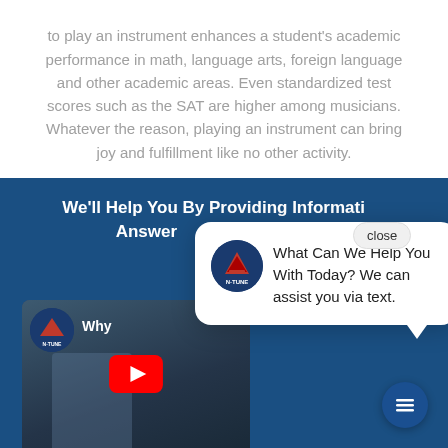to play an instrument enhances a student's academic performance in math, language arts, foreign language and other academic areas. Even standardized test scores such as the SAT are higher among musicians. Whatever the reason, playing an instrument can bring joy and fulfillment like no other activity.
We'll Help You By Providing Information And Answering
[Figure (screenshot): Chat popup with N-Tune Music & Sound logo and message 'What Can We Help You With Today? We can assist you via text.' with a close button]
[Figure (screenshot): YouTube video thumbnail showing a man in a blue shirt in a music store with violins and saxophones, with a YouTube play button overlay. The video appears to be about 'Why' something related to music. N-Tune logo and text visible.]